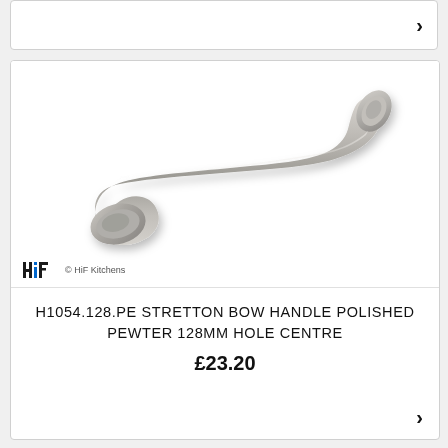[Figure (other): Top card stub with right-pointing chevron arrow]
[Figure (photo): Product photo of H1054.128.PE Stretton Bow Handle in Polished Pewter finish, showing a curved bow-style cabinet handle with flared ends, metallic silver-pewter color, on white background. HiF Kitchens logo watermark in bottom left.]
H1054.128.PE STRETTON BOW HANDLE POLISHED PEWTER 128MM HOLE CENTRE
£23.20